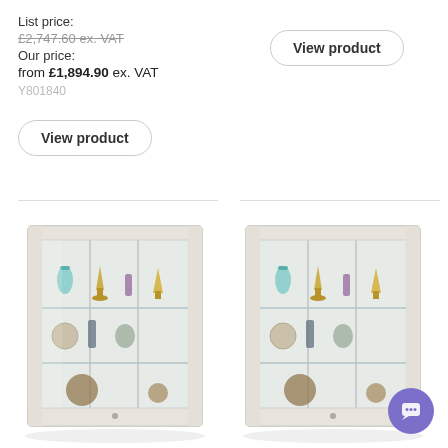List price:
£2,747.60 ex. VAT
Our price:
from £1,894.90 ex. VAT
Y801840
View product
View product
[Figure (photo): Wall-mounted glass display cabinet with white frame, glass shelves showing trophies and decorative items (left product)]
[Figure (photo): Wall-mounted glass display cabinet with white frame, glass shelves showing trophies and decorative items (right product)]